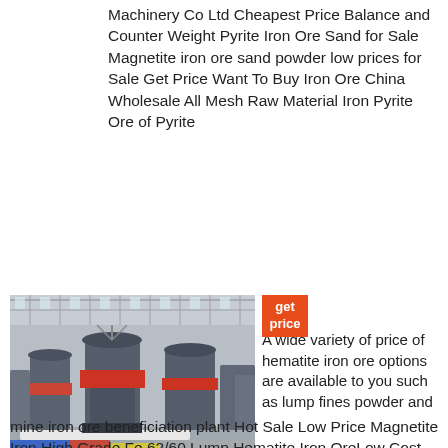Machinery Co Ltd Cheapest Price Balance and Counter Weight Pyrite Iron Ore Sand for Sale Magnetite iron ore sand powder low prices for Sale Get Price Want To Buy Iron Ore China Wholesale All Mesh Raw Material Iron Pyrite Ore of Pyrite
[Figure (photo): Industrial factory interior showing large mining/ore processing machinery equipment with metal structures, overhead lighting, and colorful ground markings (blue, red, yellow)]
get price A wide variety of price of hematite iron ore options are available to you such as lump fines powder and mine iron ore beneficiation plant Hot Sale Low Price Magnetite Iron High Grade Fe 62/60 Lump Hematite Iron OreLow Cost Copper Ore Crushing Machine Price mangalho low cost copper ore